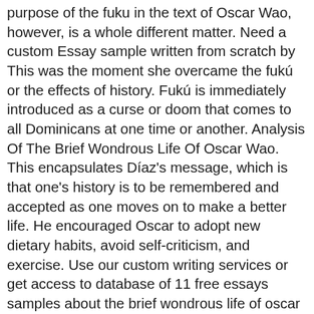purpose of the fuku in the text of Oscar Wao, however, is a whole different matter. Need a custom Essay sample written from scratch by This was the moment she overcame the fukú or the effects of history. Fukú is immediately introduced as a curse or doom that comes to all Dominicans at one time or another. Analysis Of The Brief Wondrous Life Of Oscar Wao. This encapsulates Díaz's message, which is that one's history is to be remembered and accepted as one moves on to make a better life. He encouraged Oscar to adopt new dietary habits, avoid self-criticism, and exercise. Use our custom writing services or get access to database of 11 free essays samples about the brief wondrous life of oscar wao… Therefore, both fuku and zafa are the leading concepts highlighting immigrant experience and relating the eternal confrontation of the new world with the limits created by identity, culture, and personal outlooks on life. Dias describe Oscar, the main character in the novel as a ghetto nerd, Oscar is a Dominican American kid who doesn't fit into the macho culture that surround him. Perhaps.